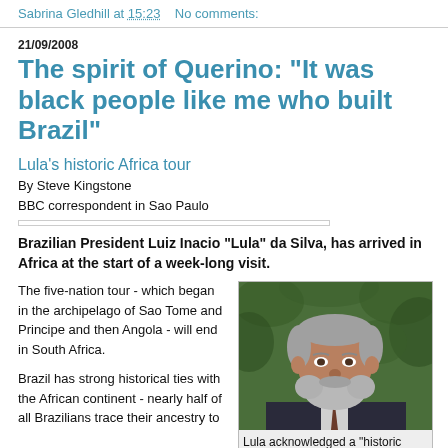Sabrina Gledhill at 15:23   No comments:
21/09/2008
The spirit of Querino: "It was black people like me who built Brazil"
Lula's historic Africa tour
By Steve Kingstone
BBC correspondent in Sao Paulo
Brazilian President Luiz Inacio "Lula" da Silva, has arrived in Africa at the start of a week-long visit.
The five-nation tour - which began in the archipelago of Sao Tome and Principe and then Angola - will end in South Africa.
[Figure (photo): Portrait photo of Lula (Luiz Inacio da Silva), smiling man with grey beard and grey hair, wearing a dark suit, with green foliage in the background.]
Lula acknowledged a "historic debt"
Brazil has strong historical ties with the African continent - nearly half of all Brazilians trace their ancestry to